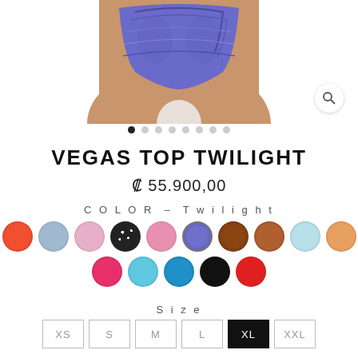[Figure (photo): Close-up of a model wearing a purple/twilight patterned bikini bottom, cropped to show hips and thighs]
VEGAS TOP TWILIGHT
₡ 55.900,00
COLOR – Twilight
[Figure (other): Color swatches: orange/red ribbed, light blue ribbed, pink ribbed, black floral, pink ribbed, purple twilight, brown tortoise, brown glitter, light blue floral, orange floral, hot pink, light blue ribbed, teal blue, black, red]
Size
XS  S  M  L  XL  XXL